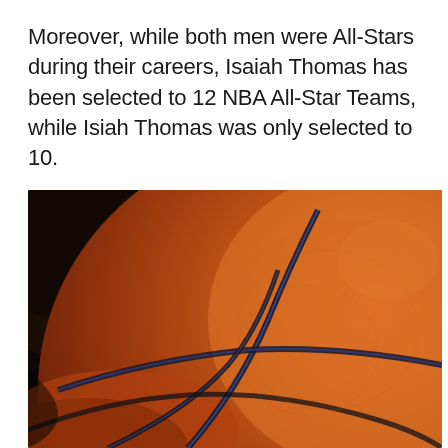Moreover, while both men were All-Stars during their careers, Isaiah Thomas has been selected to 12 NBA All-Star Teams, while Isiah Thomas was only selected to 10.
[Figure (photo): Close-up photograph of a basketball with textured orange surface and black seams/lines, with a dark background on the upper left.]